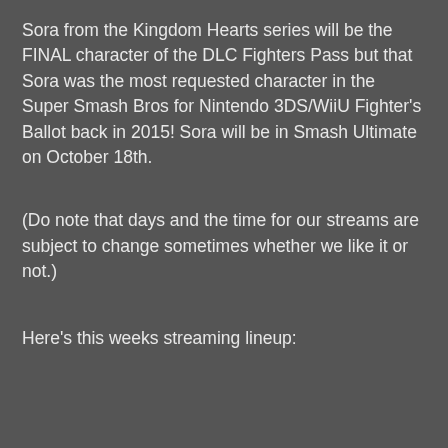Sora from the Kingdom Hearts series will be the FINAL character of the DLC Fighters Pass but that Sora was the most requested character in the Super Smash Bros for Nintendo 3DS/WiiU Fighter's Ballot back in 2015! Sora will be in Smash Ultimate on October 18th.
(Do note that days and the time for our streams are subject to change sometimes whether we like it or not.)
Here's this weeks streaming lineup: